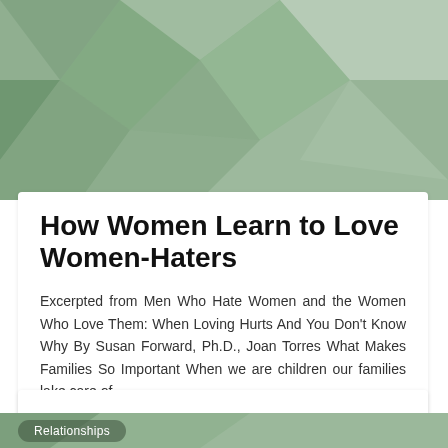[Figure (illustration): Geometric polygon/low-poly green and gray background banner image at top of page]
How Women Learn to Love Women-Haters
Excerpted from Men Who Hate Women and the Women Who Love Them: When Loving Hurts And You Don't Know Why By Susan Forward, Ph.D., Joan Torres What Makes Families So Important When we are children our families lake care of...
kamurj in Relationships
June 22, 2006
0
[Figure (illustration): Geometric polygon/low-poly green background banner at bottom of page with Relationships tag]
Relationships